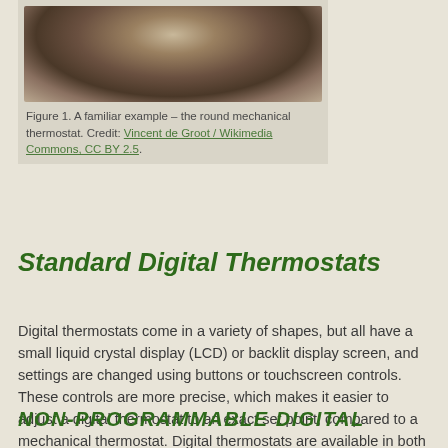[Figure (photo): Partial view of a round mechanical thermostat (circular dial device), photographed against a light background]
Figure 1. A familiar example – the round mechanical thermostat. Credit: Vincent de Groot / Wikimedia Commons, CC BY 2.5.
Standard Digital Thermostats
Digital thermostats come in a variety of shapes, but all have a small liquid crystal display (LCD) or backlit display screen, and settings are changed using buttons or touchscreen controls. These controls are more precise, which makes it easier to adjust a digital thermostat to an exact set point, compared to a mechanical thermostat. Digital thermostats are available in both non-programmable and programmable models.
NON-PROGRAMMABLE DIGITAL